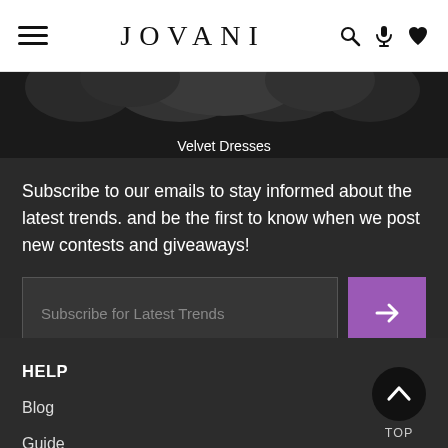JOVANI
[Figure (screenshot): Top portion of a velvet dress product image, showing dark fur/velvet material at the top of the page]
Velvet Dresses
Subscribe to our emails to stay informed about the latest trends. and be the first to know when we post new contests and giveaways!
Subscribe for Latest Trends
HELP
Blog
Guide
CONTACT